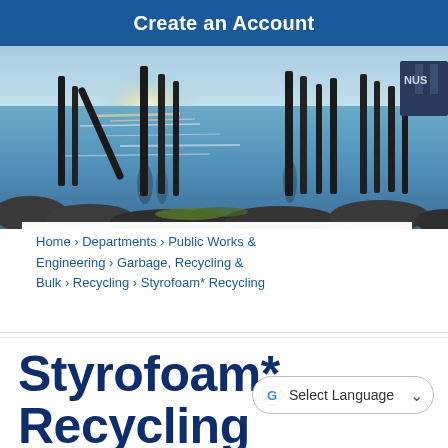Create an Account
[Figure (photo): Coastal waterfront scene showing old wooden pier pilings silhouetted against sparkling water, with rocks along the shoreline and an industrial building visible in the background under a bright sky.]
Home › Departments › Public Works & Engineering › Garbage, Recycling & Bulk › Recycling › Styrofoam* Recycling
Styrofoam* Recycling